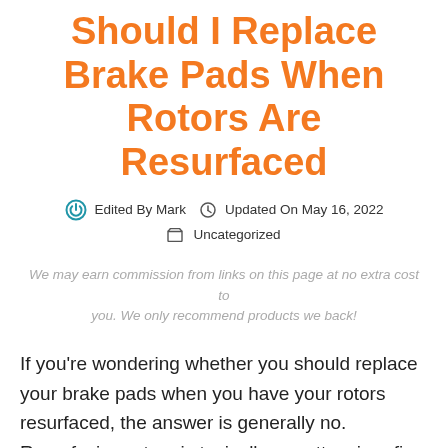Should I Replace Brake Pads When Rotors Are Resurfaced
Edited By Mark   Updated On May 16, 2022   Uncategorized
We may earn commission from links on this page at no extra cost to you. We only recommend products we back!
If you're wondering whether you should replace your brake pads when you have your rotors resurfaced, the answer is generally no. Resurfacing rotors is typically a pretty minor fix, and unless